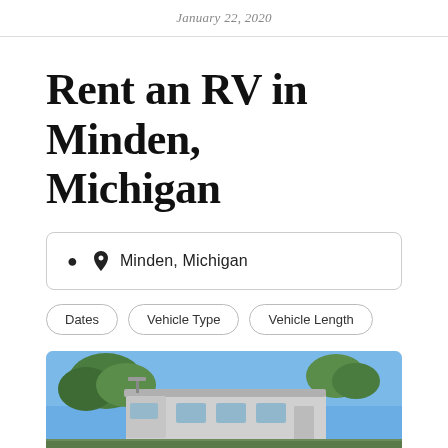January 22, 2020
Rent an RV in Minden, Michigan
Minden, Michigan
Dates
Vehicle Type
Vehicle Length
[Figure (photo): Exterior photo of an RV parked outdoors with blue sky and trees in the background]